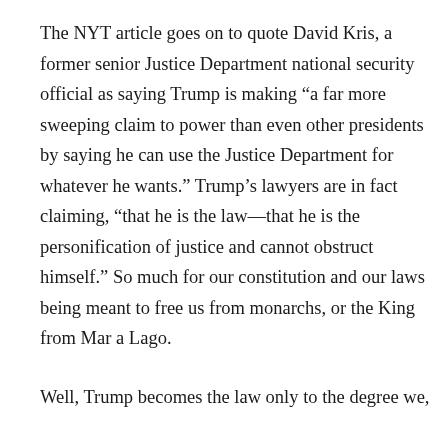The NYT article goes on to quote David Kris, a former senior Justice Department national security official as saying Trump is making “a far more sweeping claim to power than even other presidents by saying he can use the Justice Department for whatever he wants.” Trump’s lawyers are in fact claiming, “that he is the law—that he is the personification of justice and cannot obstruct himself.” So much for our constitution and our laws being meant to free us from monarchs, or the King from Mar a Lago.
Well, Trump becomes the law only to the degree we,